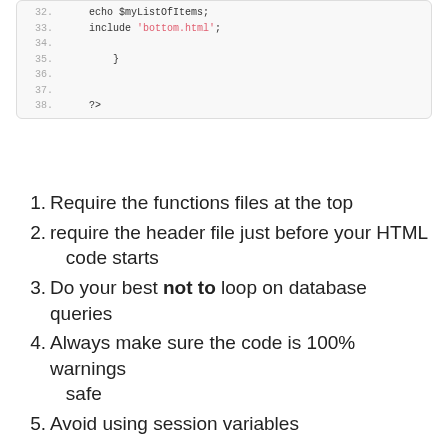[Figure (screenshot): Code snippet showing PHP lines 32-38: echo $myListOfItems; include 'bottom.html'; closing brace; closing PHP tag ?>]
1. Require the functions files at the top
2. require the header file just before your HTML code starts
3. Do your best not to loop on database queries
4. Always make sure the code is 100% warnings safe
5. Avoid using session variables